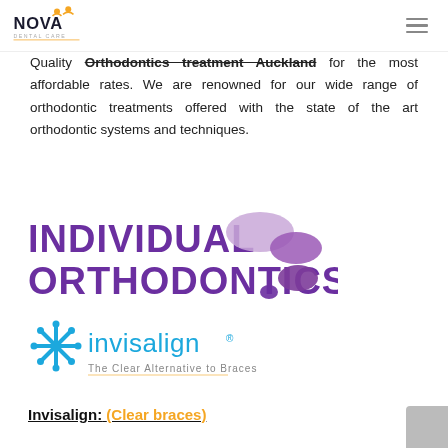Nova Dental Care — navigation header
Quality Orthodontics treatment Auckland for the most affordable rates. We are renowned for our wide range of orthodontic treatments offered with the state of the art orthodontic systems and techniques.
[Figure (logo): Individual Orthodontics logo — purple bold text with decorative oval/circle shapes in purple and lavender]
[Figure (logo): Invisalign logo — blue starburst icon, 'invisalign' in light blue text with registered mark, tagline 'The Clear Alternative to Braces']
Invisalign: (Clear braces)